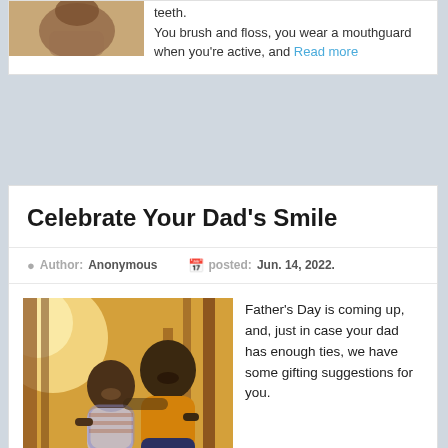teeth. You brush and floss, you wear a mouthguard when you're active, and Read more
Celebrate Your Dad's Smile
Author: Anonymous   posted: Jun. 14, 2022.
[Figure (photo): A father and young son smiling together outdoors among wooden structures, bright sunlight in background]
Father's Day is coming up, and, just in case your dad has enough ties, we have some gifting suggestions for you. Here's a selection of